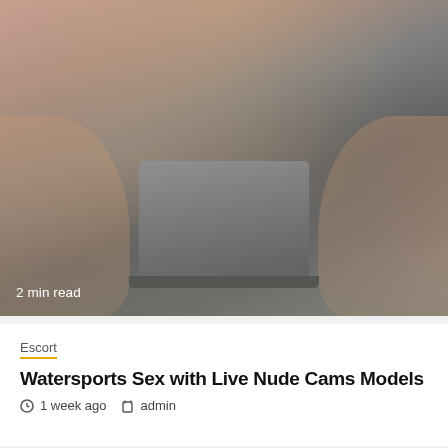[Figure (photo): Woman sitting on bed with laptop, photographed from above, watermarked stock photo]
2 min read
Escort
Watersports Sex with Live Nude Cams Models
1 week ago  admin
[Figure (photo): Woman in red lingerie posing, face blurred, with a scroll-to-top button overlay]